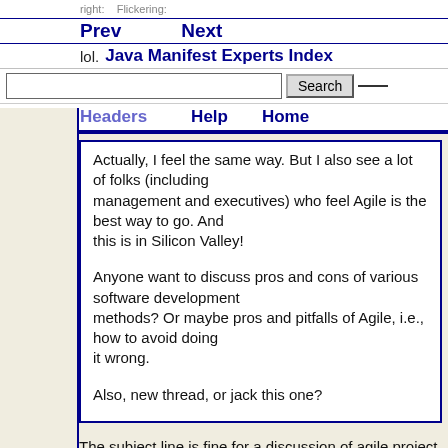Prev   Next   lol.   Java Manifest Experts Index   Search   Headers   Help   Home
Actually, I feel the same way. But I also see a lot of folks (including management and executives) who feel Agile is the best way to go. And this is in Silicon Valley!

Anyone want to discuss pros and cons of various software development methods? Or maybe pros and pitfalls of Agile, i.e., how to avoid doing it wrong.

Also, new thread, or jack this one?
The subject line is fine for a discussion of agile project management,
so I think hijack it.